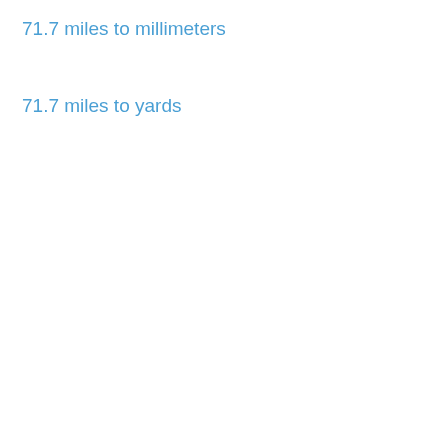71.7 miles to millimeters
71.7 miles to yards